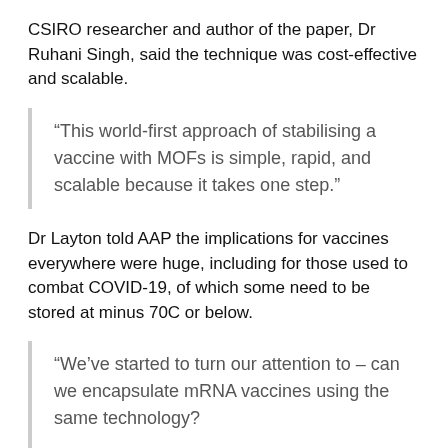CSIRO researcher and author of the paper, Dr Ruhani Singh, said the technique was cost-effective and scalable.
“This world-first approach of stabilising a vaccine with MOFs is simple, rapid, and scalable because it takes one step.”
Dr Layton told AAP the implications for vaccines everywhere were huge, including for those used to combat COVID-19, of which some need to be stored at minus 70C or below.
“We’ve started to turn our attention to – can we encapsulate mRNA vaccines using the same technology?
“Vaccines such as the AstraZeneca